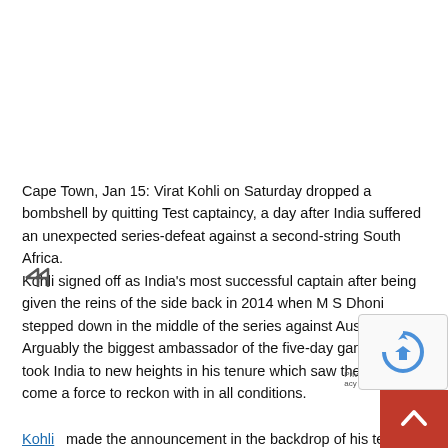Cape Town, Jan 15: Virat Kohli on Saturday dropped a bombshell by quitting Test captaincy, a day after India suffered an unexpected series-defeat against a second-string South Africa.
Kohli signed off as India's most successful captain after being given the reins of the side back in 2014 when M S Dhoni stepped down in the middle of the series against Australia.
Arguably the biggest ambassador of the five-day game, Kohli took India to new heights in his tenure which saw the team become a force to reckon with in all conditions.